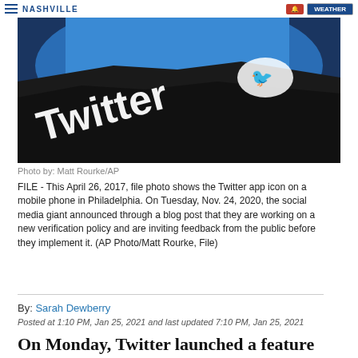NASHVILLE
[Figure (photo): Close-up photo of a Twitter app icon on a mobile phone, showing the Twitter bird logo on a black surface with a blue background visible]
Photo by: Matt Rourke/AP
FILE - This April 26, 2017, file photo shows the Twitter app icon on a mobile phone in Philadelphia. On Tuesday, Nov. 24, 2020, the social media giant announced through a blog post that they are working on a new verification policy and are inviting feedback from the public before they implement it. (AP Photo/Matt Rourke, File)
By: Sarah Dewberry
Posted at 1:10 PM, Jan 25, 2021 and last updated 7:10 PM, Jan 25, 2021
On Monday, Twitter launched a feature that'll help fight the spread of misleading information on the social media platform.